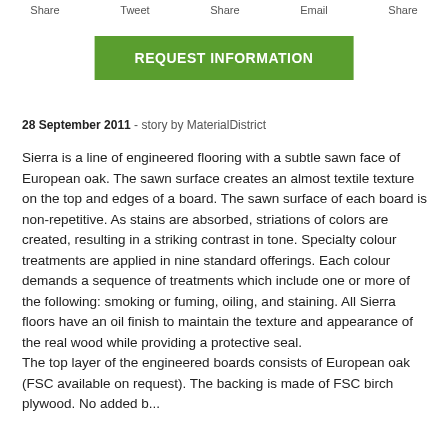Share   Tweet   Share   Email   Share
REQUEST INFORMATION
28 September 2011 - story by MaterialDistrict
Sierra is a line of engineered flooring with a subtle sawn face of European oak. The sawn surface creates an almost textile texture on the top and edges of a board. The sawn surface of each board is non-repetitive. As stains are absorbed, striations of colors are created, resulting in a striking contrast in tone. Specialty colour treatments are applied in nine standard offerings. Each colour demands a sequence of treatments which include one or more of the following: smoking or fuming, oiling, and staining. All Sierra floors have an oil finish to maintain the texture and appearance of the real wood while providing a protective seal.
The top layer of the engineered boards consists of European oak (FSC available on request). The backing is made of FSC birch plywood. No added...